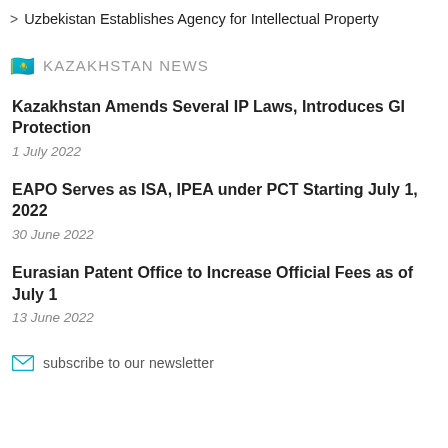> Uzbekistan Establishes Agency for Intellectual Property
KAZAKHSTAN NEWS
Kazakhstan Amends Several IP Laws, Introduces GI Protection
1 July 2022
EAPO Serves as ISA, IPEA under PCT Starting July 1, 2022
30 June 2022
Eurasian Patent Office to Increase Official Fees as of July 1
13 June 2022
subscribe to our newsletter